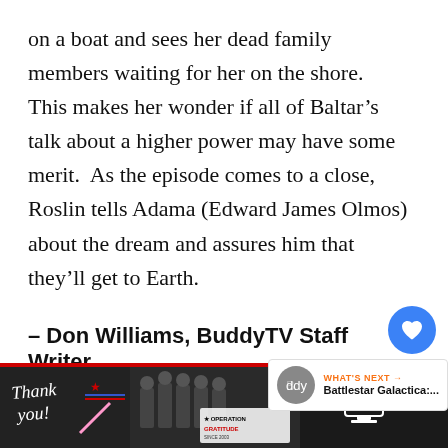on a boat and sees her dead family members waiting for her on the shore.  This makes her wonder if all of Baltar's talk about a higher power may have some merit.  As the episode comes to a close, Roslin tells Adama (Edward James Olmos) about the dream and assures him that they'll get to Earth.
– Don Williams, BuddyTV Staff Writer
(Image courtesy of the Sci Fi Chann...
[Figure (screenshot): Advertisement banner at bottom: Thank you image with firefighters and Operation Gratitude logo on dark background]